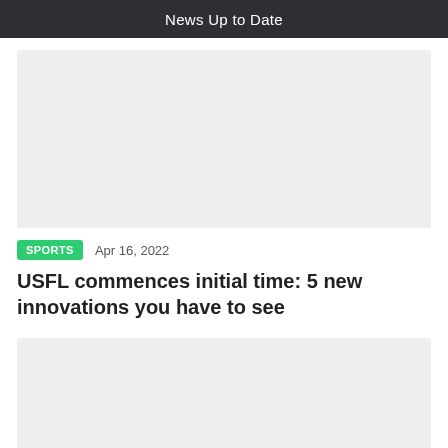News Up to Date
[Figure (photo): Top article image placeholder (light gray rectangle)]
SPORTS   Apr 16, 2022
USFL commences initial time: 5 new innovations you have to see
[Figure (photo): Bottom article image placeholder (light gray rectangle)]